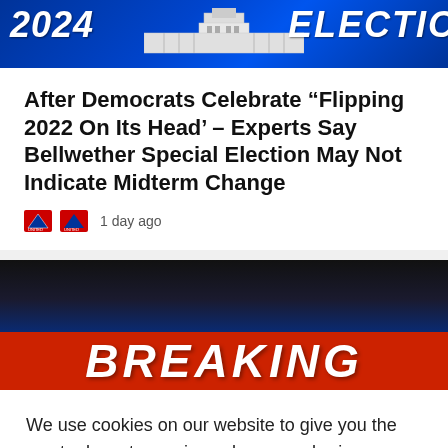[Figure (photo): Banner image showing '2024' text on left, White House building in center, 'ELECTION' text partially visible on right, all on blue background]
After Democrats Celebrate “Flipping 2022 On Its Head’ – Experts Say Bellwether Special Election May Not Indicate Midterm Change
1 day ago
[Figure (photo): Breaking news banner image with red 'BREAKING' text on dark background]
We use cookies on our website to give you the most relevant experience by remembering your preferences and repeat visits. By clicking “Accept”, you consent to the use of ALL the cookies.
Cookie Settings  ACCEPT